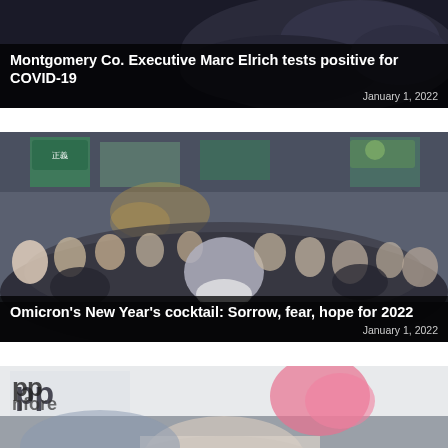[Figure (photo): Dark photo showing hands/person, news card for Montgomery Co. Executive Marc Elrich COVID-19 story]
Montgomery Co. Executive Marc Elrich tests positive for COVID-19
January 1, 2022
[Figure (photo): Crowded outdoor market street scene with many people wearing masks, shops with signs visible]
Omicron's New Year's cocktail: Sorrow, fear, hope for 2022
January 1, 2022
[Figure (photo): Partial photo showing protest sign text and people, bottom card partially visible]